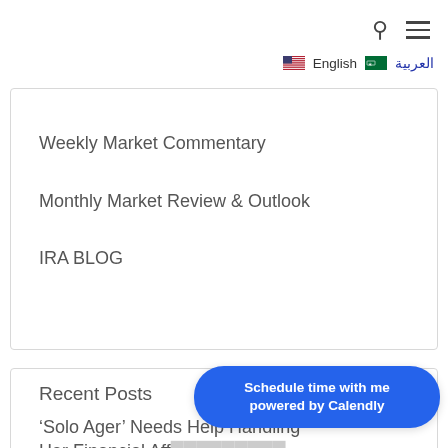🔍 ≡ 🇺🇸 English 🇸🇦 العربية
Weekly Market Commentary
Monthly Market Review & Outlook
IRA BLOG
Recent Posts
'Solo Ager' Needs Help Handling Her Financial Aff… 2022
Schedule time with me powered by Calendly